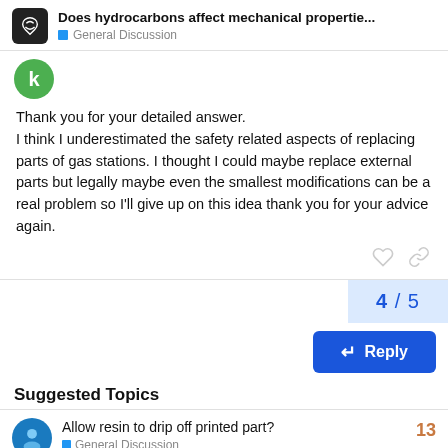Does hydrocarbons affect mechanical propertie... | General Discussion
Thank you for your detailed answer.
I think I underestimated the safety related aspects of replacing parts of gas stations. I thought I could maybe replace external parts but legally maybe even the smallest modifications can be a real problem so I’ll give up on this idea thank you for your advice again.
4 / 5
Reply
Suggested Topics
Allow resin to drip off printed part?  13
General Discussion